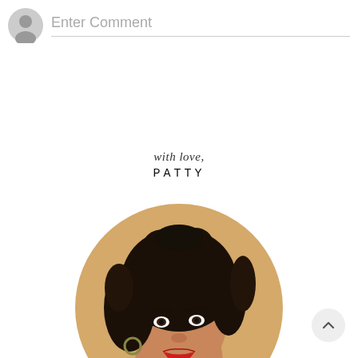Enter Comment
with love,
PATTY
[Figure (photo): Circular profile photo of a woman with curly dark hair, wearing a white ruffled top, red lipstick, and hoop earrings, smiling slightly against a warm background.]